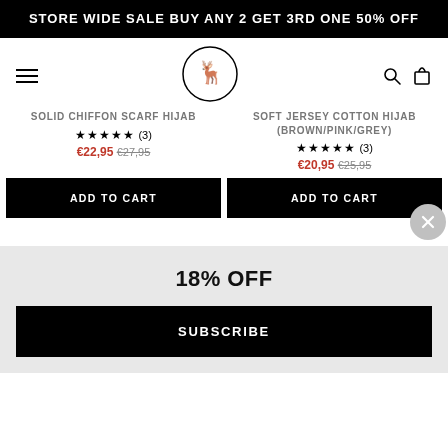STORE WIDE SALE BUY ANY 2 GET 3RD ONE 50% OFF
[Figure (logo): Circular logo with deer/stag head illustration]
SOLID CHIFFON SCARF HIJAB
SOFT JERSEY COTTON HIJAB (BROWN/PINK/GREY)
★★★★★ (3) €22,95 €27,95
★★★★★ (3) €20,95 €25,95
ADD TO CART
ADD TO CART
18% OFF
SUBSCRIBE